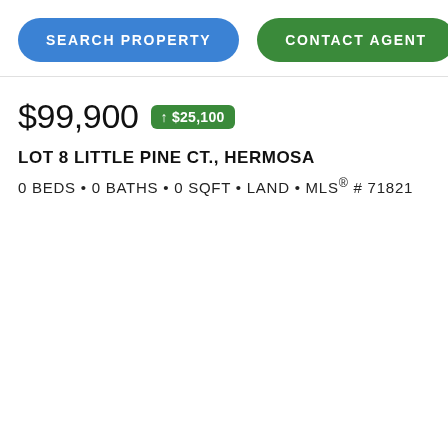SEARCH PROPERTY
CONTACT AGENT
$99,900 ↑ $25,100
LOT 8 LITTLE PINE CT., HERMOSA
0 BEDS • 0 BATHS • 0 SQFT • LAND • MLS® # 71821